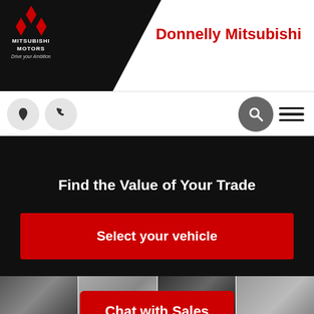[Figure (logo): Mitsubishi Motors logo with diamond symbol on black triangular background, 'MITSUBISHI MOTORS Drive your Ambition' text in white]
Donnelly Mitsubishi
[Figure (infographic): Navigation bar with location pin icon, phone icon (grey circles), search icon (dark grey circle), and hamburger menu icon]
Find the Value of Your Trade
Select your vehicle
Powered by AUTOVERIFY
[Figure (photo): Four vehicle thumbnail images in a horizontal strip]
View All Images
Chat with Sales